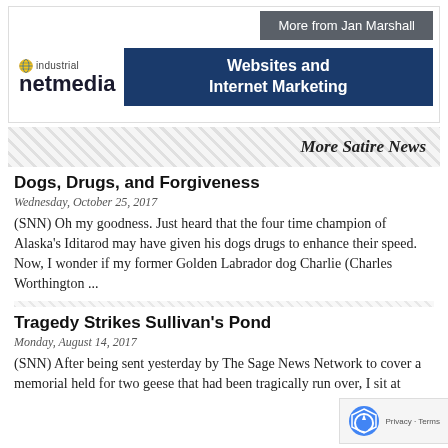[Figure (logo): Industrial Netmedia logo with globe icon and 'Websites and Internet Marketing' blue banner]
More Satire News
Dogs, Drugs, and Forgiveness
Wednesday, October 25, 2017
(SNN) Oh my goodness. Just heard that the four time champion of Alaska's Iditarod may have given his dogs drugs to enhance their speed. Now, I wonder if my former Golden Labrador dog Charlie (Charles Worthington ...
Tragedy Strikes Sullivan's Pond
Monday, August 14, 2017
(SNN) After being sent yesterday by The Sage News Network to cover a memorial held for two geese that had been tragically run over, I sit at